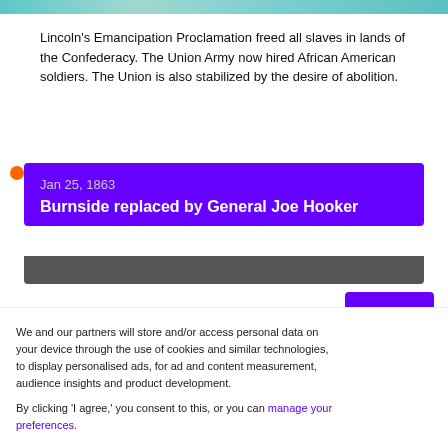[Figure (illustration): Cropped top portion of a decorative historical image with teal/turquoise tones]
Lincoln's Emancipation Proclamation freed all slaves in lands of the Confederacy. The Union Army now hired African American soldiers. The Union is also stabilized by the desire of abolition.
Jan 25, 1863
Burnside replaced by General Joe Hooker
We and our partners will store and/or access personal data on your device through the use of cookies and similar technologies, to display personalised ads, for ad and content measurement, audience insights and product development.

By clicking 'I agree,' you consent to this, or you can manage your preferences.